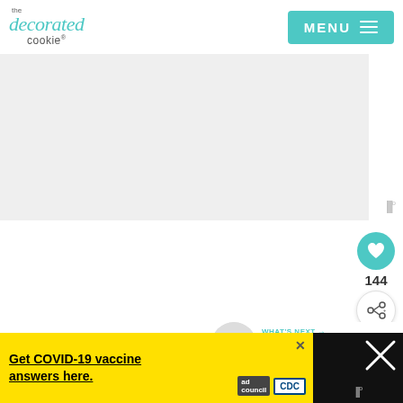[Figure (logo): The Decorated Cookie logo in teal/grey script text]
[Figure (other): MENU button with hamburger icon in teal]
[Figure (photo): Main content image area (light grey placeholder)]
[Figure (other): Mediavine watermark icon]
[Figure (other): Heart/like button (teal circle) with count 144 and share button]
144
[Figure (other): What's Next section with rainbow cake thumbnail and text 'rainbow cake and cupcakes']
WHAT'S NEXT → rainbow cake and cupcakes
[Figure (other): Ad banner: Get COVID-19 vaccine answers here. Ad Council CDC logos]